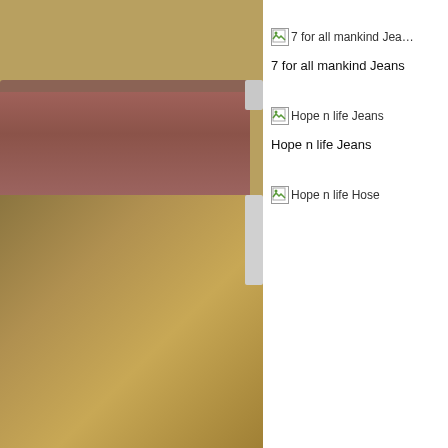[Figure (photo): Left column showing product display shelving. Top portion has an olive/tan wall background with a brown/mauve wooden shelf holding fabric. Bottom portion shows an olive-gold textured fabric or leather surface filling the lower half of the left column.]
7 for all mankind Jeans
7 for all mankind Jeans
Hope n life Jeans
Hope n life Jeans
Hope n life Hose